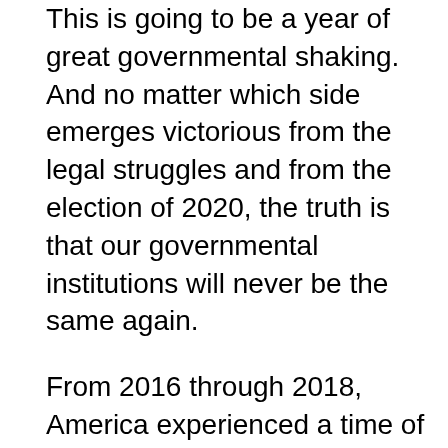This is going to be a year of great governmental shaking.  And no matter which side emerges victorious from the legal struggles and from the election of 2020, the truth is that our governmental institutions will never be the same again.
From 2016 through 2018, America experienced a time of relative peace and prosperity, and a lot of people out there were convinced that this bubble of unsustainable false prosperity could continue indefinitely.
Now it is becoming very clear what is ahead of us, and a lot of people are starting to freak out.
About the author: Michael Snyder is a nationally-syndicated writer, media personality